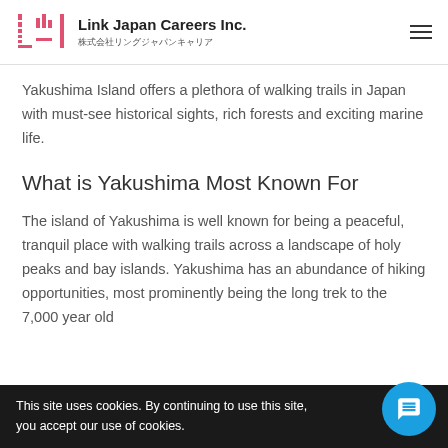Link Japan Careers Inc. 株式会社リングジャパンキャリア
Yakushima Island offers a plethora of walking trails in Japan with must-see historical sights, rich forests and exciting marine life.
What is Yakushima Most Known For
The island of Yakushima is well known for being a peaceful, tranquil place with walking trails across a landscape of holy peaks and bay islands. Yakushima has an abundance of hiking opportunities, most prominently being the long trek to the 7,000 year old
This site uses cookies. By continuing to use this site, you accept our use of cookies.